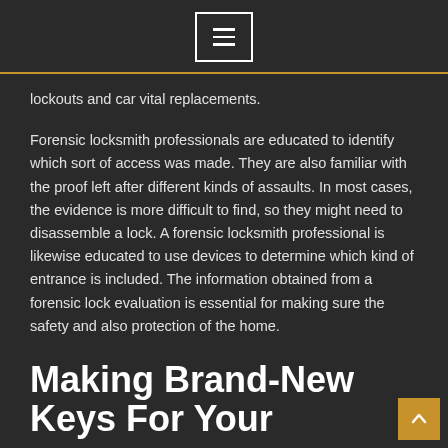[hamburger menu button]
lockouts and car vital replacements.
Forensic locksmith professionals are educated to identify which sort of access was made. They are also familiar with the proof left after different kinds of assaults. In most cases, the evidence is more difficult to find, so they might need to disassemble a lock. A forensic locksmith professional is likewise educated to use devices to determine which kind of entrance is included. The information obtained from a forensic lock evaluation is essential for making sure the safety and also protection of the home.
Making Brand-New Keys For Your